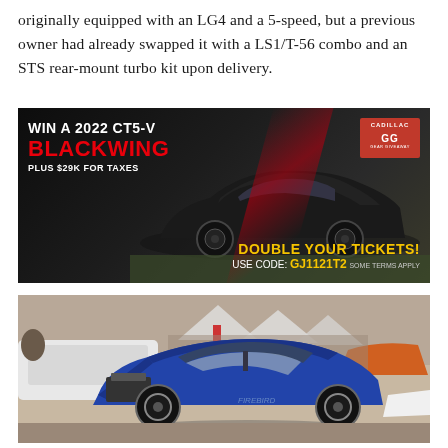originally equipped with an LG4 and a 5-speed, but a previous owner had already swapped it with a LS1/T-56 combo and an STS rear-mount turbo kit upon delivery.
[Figure (photo): Advertisement for winning a 2022 CT5-V Blackwing plus $29K for taxes. Features a black Cadillac CT5-V Blackwing sedan on grass. Cadillac gear giveaway logo in top right. Bottom right text says 'DOUBLE YOUR TICKETS! USE CODE: GJ1121T2']
[Figure (photo): Photo of a blue classic Pontiac Firebird/Trans Am with hood open at what appears to be a car show or event, with other cars and spectators visible in the background under tents.]